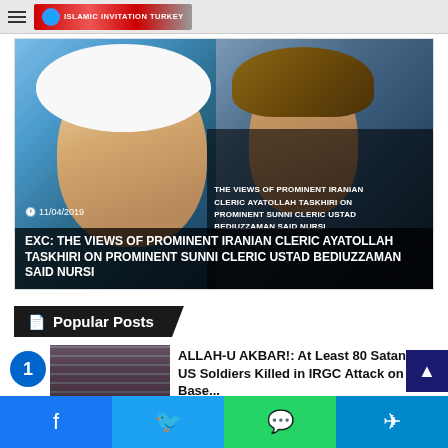Islamic Invitation Turkey
[Figure (photo): Hero image split: left side shows Iranian cleric with white turban and glasses (Ayatollah Taskhiri), right side shows a painting-style portrait of Bediuzzaman Said Nursi with brown headdress. Overlaid text reads the article title.]
11/04/2019
EXC: THE VIEWS OF PROMINENT IRANIAN CLERIC AYATOLLAH TASKHIRI ON PROMINENT SUNNI CLERIC USTAD BEDIUZZAMAN SAID NURSI
Popular Posts
ALLAH-U AKBAR!: At Least 80 Satanic US Soldiers Killed in IRGC Attack on US Base in Iraq